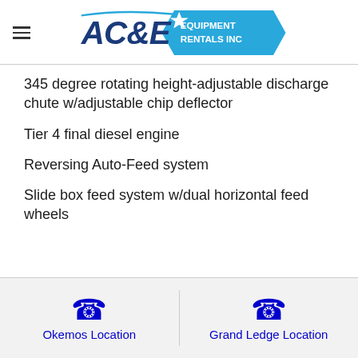AC&E Equipment Rentals Inc
345 degree rotating height-adjustable discharge chute w/adjustable chip deflector
Tier 4 final diesel engine
Reversing Auto-Feed system
Slide box feed system w/dual horizontal feed wheels
Okemos Location | Grand Ledge Location